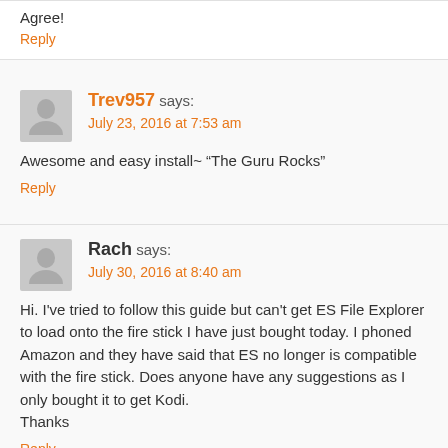Agree!
Reply
Trev957 says:
July 23, 2016 at 7:53 am
Awesome and easy install~ “The Guru Rocks”
Reply
Rach says:
July 30, 2016 at 8:40 am
Hi. I've tried to follow this guide but can't get ES File Explorer to load onto the fire stick I have just bought today. I phoned Amazon and they have said that ES no longer is compatible with the fire stick. Does anyone have any suggestions as I only bought it to get Kodi.
Thanks
Reply